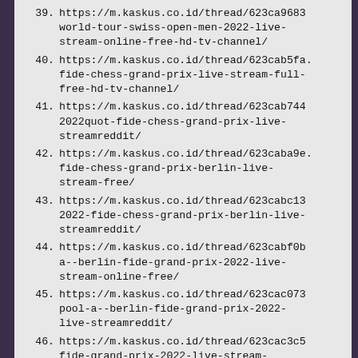39. https://m.kaskus.co.id/thread/623ca9683world-tour-swiss-open-men-2022-live-stream-online-free-hd-tv-channel/
40. https://m.kaskus.co.id/thread/623cab5fa.fide-chess-grand-prix-live-stream-full-free-hd-tv-channel/
41. https://m.kaskus.co.id/thread/623cab7442022quot-fide-chess-grand-prix-live-streamreddit/
42. https://m.kaskus.co.id/thread/623caba9e.fide-chess-grand-prix-berlin-live-stream-free/
43. https://m.kaskus.co.id/thread/623cabc132022-fide-chess-grand-prix-berlin-live-streamreddit/
44. https://m.kaskus.co.id/thread/623cabf0ba--berlin-fide-grand-prix-2022-live-stream-online-free/
45. https://m.kaskus.co.id/thread/623cac073pool-a--berlin-fide-grand-prix-2022-live-streamreddit/
46. https://m.kaskus.co.id/thread/623cac3c5fide-grand-prix-2022-live-stream-online-full-free-hd-tv-channel/
47. https://m.kaskus.co.id/thread/623cac609berlin-fide-grand-prix-2022-live-streamreddit/
48. https://m.kaskus.co.id/thread/623cad49e